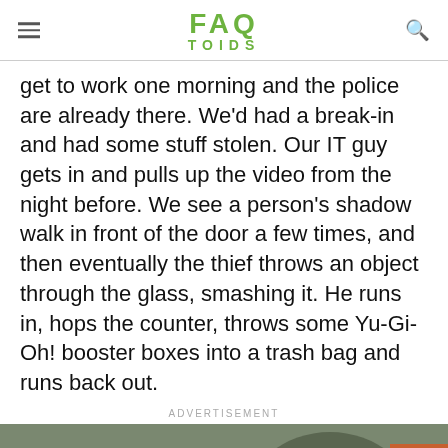FAQ TOIDS
get to work one morning and the police are already there. We'd had a break-in and had some stuff stolen. Our IT guy gets in and pulls up the video from the night before. We see a person's shadow walk in front of the door a few times, and then eventually the thief throws an object through the glass, smashing it. He runs in, hops the counter, throws some Yu-Gi-Oh! booster boxes into a trash bag and runs back out.
ADVERTISEMENT
[Figure (photo): Photo of a person wearing a green Boba Fett helmet costume at what appears to be a convention, with other people visible in the background.]